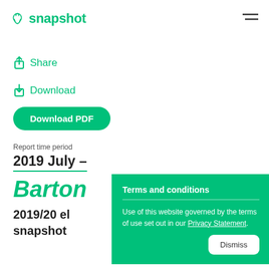snapshot
Share
Download
Download PDF
Report time period
2019 July –
Barton
2019/20 el
snapshot
Terms and conditions
Use of this website governed by the terms of use set out in our Privacy Statement.
Dismiss